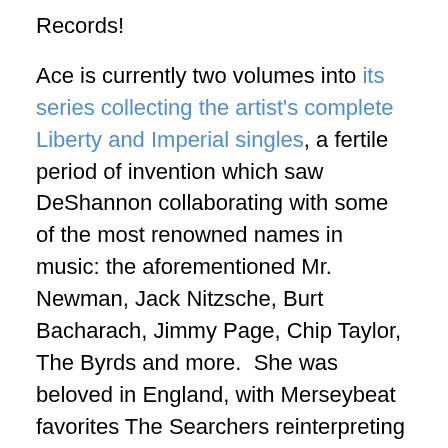Records!
Ace is currently two volumes into its series collecting the artist's complete Liberty and Imperial singles, a fertile period of invention which saw DeShannon collaborating with some of the most renowned names in music: the aforementioned Mr. Newman, Jack Nitzsche, Burt Bacharach, Jimmy Page, Chip Taylor, The Byrds and more.  She was beloved in England, with Merseybeat favorites The Searchers reinterpreting her songs to great success; she even toured with the Beatles.  It's all too unknown that, back home, that DeShannon presaged the Southern California singer/songwriter boom with her 1969 album Laurel Canyon.  Her open hearted spirit was in evidence not only on the Bacharach-produced “What the World Needs Now Is Love” (which earned three Grammy